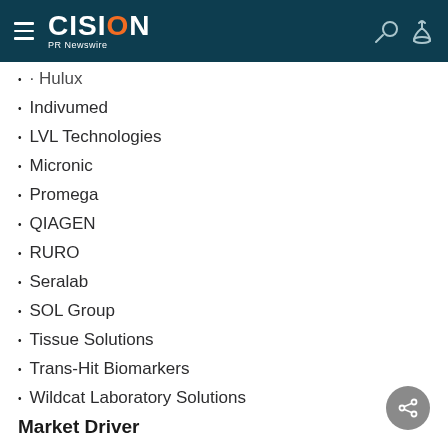CISION PR Newswire
Hulux
Indivumed
LVL Technologies
Micronic
Promega
QIAGEN
RURO
Seralab
SOL Group
Tissue Solutions
Trans-Hit Biomarkers
Wildcat Laboratory Solutions
Market Driver